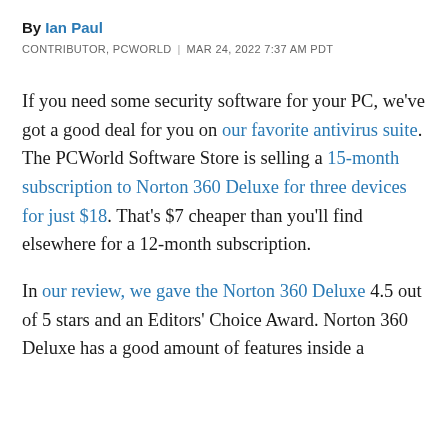By Ian Paul
CONTRIBUTOR, PCWORLD | MAR 24, 2022 7:37 AM PDT
If you need some security software for your PC, we've got a good deal for you on our favorite antivirus suite. The PCWorld Software Store is selling a 15-month subscription to Norton 360 Deluxe for three devices for just $18. That's $7 cheaper than you'll find elsewhere for a 12-month subscription.
In our review, we gave the Norton 360 Deluxe 4.5 out of 5 stars and an Editors' Choice Award. Norton 360 Deluxe has a good amount of features inside a